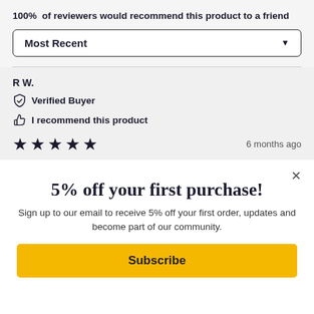100% of reviewers would recommend this product to a friend
Most Recent
R W.
Verified Buyer
I recommend this product
★★★★★  6 months ago
5% off your first purchase!
Sign up to our email to receive 5% off your first order, updates and become part of our community.
Subscribe